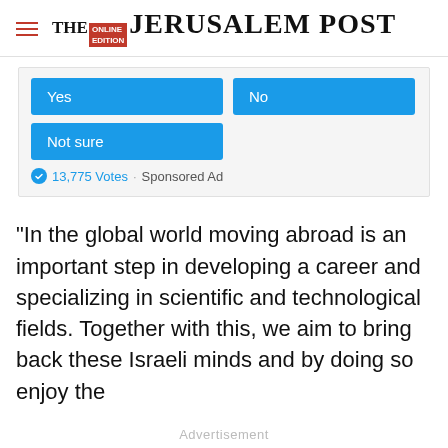THE JERUSALEM POST
[Figure (other): Online poll widget with Yes, No, and Not sure buttons (blue). Shows 13,775 Votes · Sponsored Ad.]
“In the global world moving abroad is an important step in developing a career and specializing in scientific and technological fields. Together with this, we aim to bring back these Israeli minds and by doing so enjoy the
Advertisement